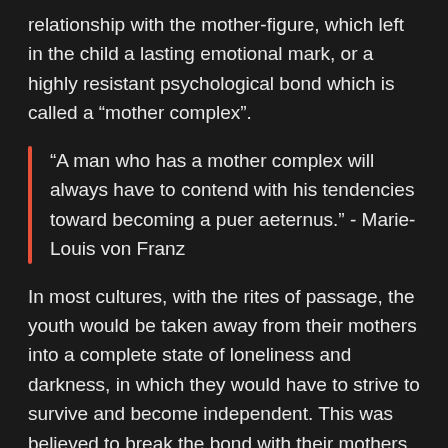relationship with the mother-figure, which left in the child a lasting emotional mark, or a highly resistant psychological bond which is called a “mother complex”.
“A man who has a mother complex will always have to contend with his tendencies toward becoming a puer aeternus.” - Marie-Louis von Franz
In most cultures, with the rites of passage, the youth would be taken away from their mothers into a complete state of loneliness and darkness, in which they would have to strive to survive and become independent. This was believed to break the bond with their mothers, and they would be welcomed back in the tribe as adults. Representing the symbolical death of childhood.
Nowadays, we don’t have those rites of passage